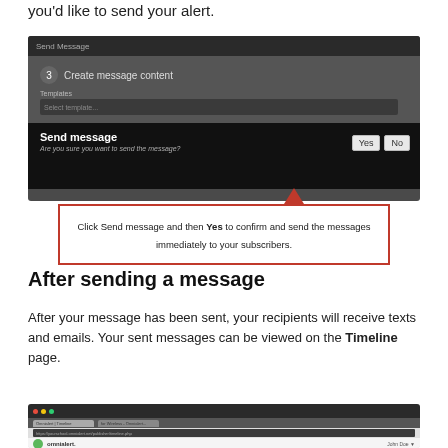you'd like to send your alert.
[Figure (screenshot): Dark UI screenshot showing step 3 'Create message content' with a Template dropdown, and a 'Send message' confirmation dialog with Yes and No buttons. A red arrow points to the Yes button. A red-bordered callout box reads: 'Click Send message and then Yes to confirm and send the messages immediately to your subscribers.']
After sending a message
After your message has been sent, your recipients will receive texts and emails. Your sent messages can be viewed on the Timeline page.
[Figure (screenshot): Browser screenshot showing the Omnialert Timeline page in a dark-themed browser window with the omnialert. logo visible.]